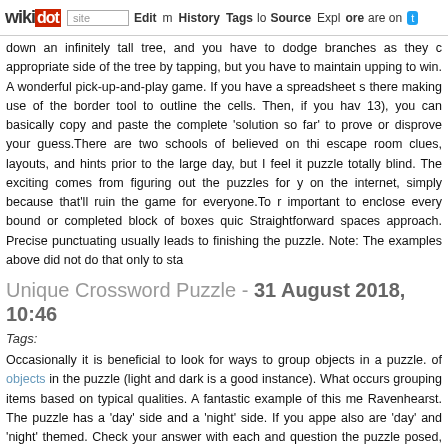wikidot | site Edit History Tags Source Explore Share on
down an infinitely tall tree, and you have to dodge branches as they appropriate side of the tree by tapping, but you have to maintain upping to win. A wonderful pick-up-and-play game. If you have a spreadsheet s there making use of the border tool to outline the cells. Then, if you hav 13), you can basically copy and paste the complete 'solution so far' to prove or disprove your guess.There are two schools of believed on thi escape room clues, layouts, and hints prior to the large day, but I feel it puzzle totally blind. The exciting comes from figuring out the puzzles for y on the internet, simply because that'll ruin the game for everyone.To r important to enclose every bound or completed block of boxes quic Straightforward spaces approach. Precise punctuating usually leads to finishing the puzzle. Note: The examples above did not do that only to sta
Unique Crossword Puzzle - 31 August 2018, 10:46
Tags:
Occasionally it is beneficial to look for ways to group objects in a puzzle. of objects in the puzzle (light and dark is a good instance). What occurs grouping items based on typical qualities. A fantastic example of this me Ravenhearst. The puzzle has a 'day' side and a 'night' side. If you appe also are 'day' and 'night' themed. Check your answer with each and question the puzzle posed, look at the clues and see if your chart tends t only take a couple of minutes to verify every single answer and notic mistake, you'll possibly need to have to start once again, given that it i puzzle. Otherwise, congratulations! You have solved the puzzle.The Tantr Xtreme It is a set of ten tiles with which you can do numerous loop puzz to ten in the comprehensive set (as it is sold now, i.e. the new numbering